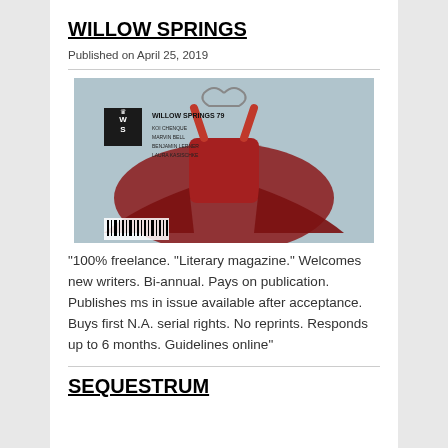WILLOW SPRINGS
Published on April 25, 2019
[Figure (photo): Cover of Willow Springs 79 literary magazine showing a red garment/dress hung up, with WS logo and contributor names listed]
“100% freelance. “Literary magazine.” Welcomes new writers. Bi-annual. Pays on publication. Publishes ms in issue available after acceptance. Buys first N.A. serial rights. No reprints. Responds up to 6 months. Guidelines online”
SEQUESTRUM